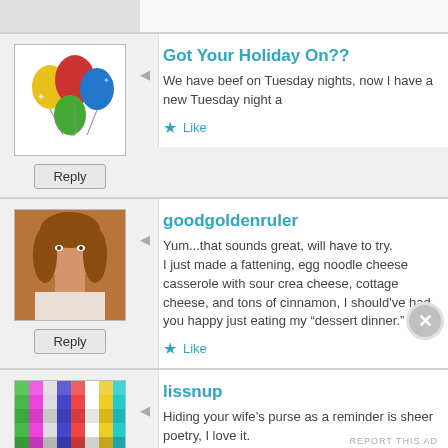[Figure (screenshot): Blog comment section screenshot showing three user comments and an advertisement]
Got Your Holiday On??
We have beef on Tuesday nights, now I have a new Tuesday night a
Like
goodgoldenruler
Yum...that sounds great, will have to try. I just made a fattening, egg noodle cheese casserole with sour crea cheese, cottage cheese, and tons of cinnamon, I should've had you happy just eating my “dessert dinner.”
Like
lissnup
Hiding your wife’s purse as a reminder is sheer poetry, I love it.
Advertisements
LONGREADS
Bringing you the best stories on the web since 2009.